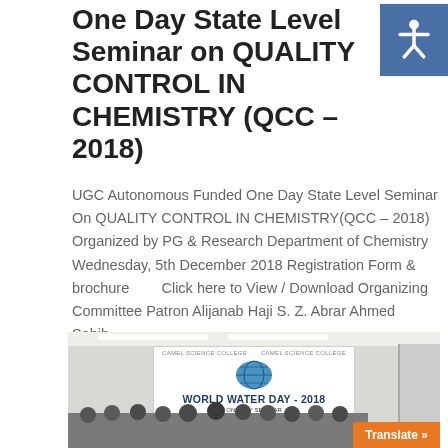One Day State Level Seminar on QUALITY CONTROL IN CHEMISTRY (QCC – 2018)
UGC Autonomous Funded One Day State Level Seminar On QUALITY CONTROL IN CHEMISTRY(QCC – 2018) Organized by PG & Research Department of Chemistry Wednesday, 5th December 2018 Registration Form & brochure        Click here to View / Download Organizing Committee Patron Alijanab Haji S. Z. Abrar Ahmed Sahib,...
READ MORE
[Figure (photo): Photo from a seminar event showing a group of people seated and standing in front of a banner reading WORLD WATER DAY - 2018 ONE DAY SEMINAR ON NATURAL WATER SOLUTION, in a room with fluorescent lighting]